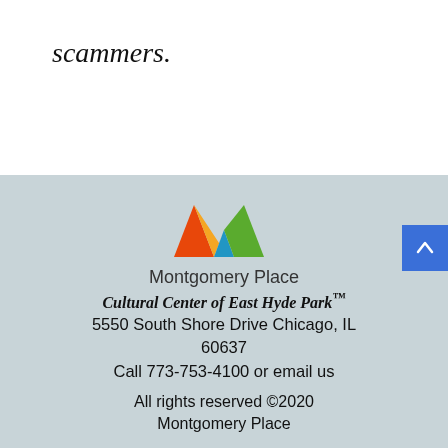scammers.
[Figure (logo): Montgomery Place colorful M logo with orange, yellow, blue, and green segments]
Montgomery Place
Cultural Center of East Hyde Park™
5550 South Shore Drive Chicago, IL 60637
Call 773-753-4100 or email us
All rights reserved ©2020 Montgomery Place